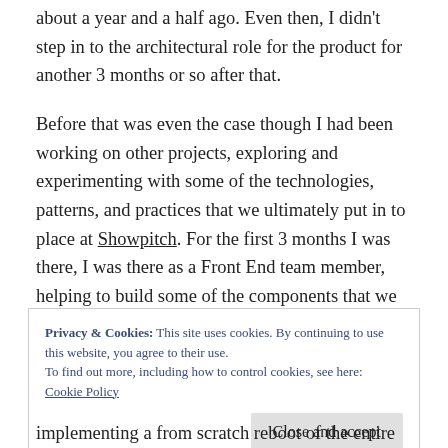about a year and a half ago. Even then, I didn't step in to the architectural role for the product for another 3 months or so after that.
Before that was even the case though I had been working on other projects, exploring and experimenting with some of the technologies, patterns, and practices that we ultimately put in to place at Showpitch. For the first 3 months I was there, I was there as a Front End team member, helping to build some of the components that we were going to use for the UI at that time.
Privacy & Cookies: This site uses cookies. By continuing to use this website, you agree to their use.
To find out more, including how to control cookies, see here: Cookie Policy
implementing a from scratch reboot of the entire